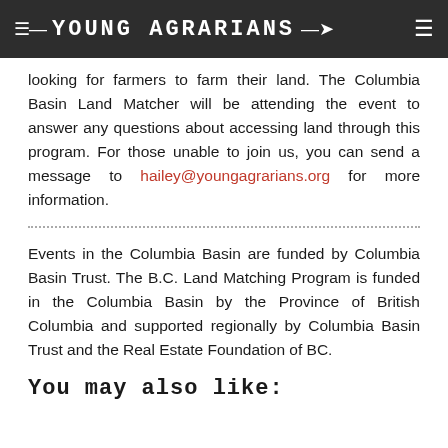YOUNG AGRARIANS
looking for farmers to farm their land. The Columbia Basin Land Matcher will be attending the event to answer any questions about accessing land through this program. For those unable to join us, you can send a message to hailey@youngagrarians.org for more information.
Events in the Columbia Basin are funded by Columbia Basin Trust. The B.C. Land Matching Program is funded in the Columbia Basin by the Province of British Columbia and supported regionally by Columbia Basin Trust and the Real Estate Foundation of BC.
You may also like: